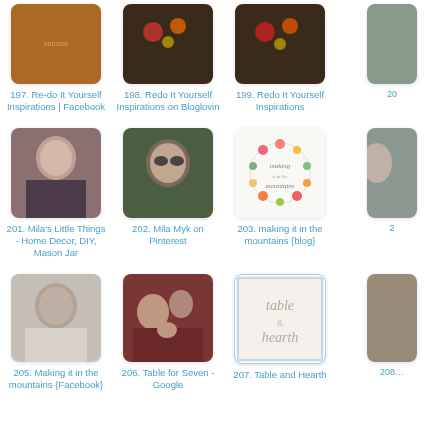[Figure (photo): Thumbnail image for entry 197 - autumn/fall themed photo]
197. Re-do It Yourself Inspirations | Facebook
[Figure (photo): Thumbnail image for entry 198 - dark decorative image with colored circles]
198. Redo It Yourself Inspirations on Bloglovin
[Figure (photo): Thumbnail image for entry 199 - dark decorative image with colored circles]
199. Redo It Yourself Inspirations
[Figure (photo): Partial thumbnail for entry 200 (cropped at right edge)]
20…
[Figure (photo): Portrait of young woman/girl thumbnail for entry 201]
201. Mila's Little Things - Home Decor, DIY, Mason Jar
[Figure (photo): Person with sunglasses thumbnail for entry 202]
202. Mila Myk on Pinterest
[Figure (illustration): Floral wreath logo with text 'making it in the mountains' for entry 203]
203. making it in the mountains {blog}
[Figure (photo): Partial thumbnail for entry 204 (cropped at right edge)]
20…
[Figure (photo): Black and white portrait of young woman for entry 205]
205. Making it in the mountains {Facebook}
[Figure (photo): Family photo with adults and child for entry 206]
206. Table for Seven - Google
[Figure (illustration): Decorative script text reading 'table hearth' on light background for entry 207]
207. Table and Hearth
[Figure (photo): Partial thumbnail for entry 208 (cropped at right edge)]
208…